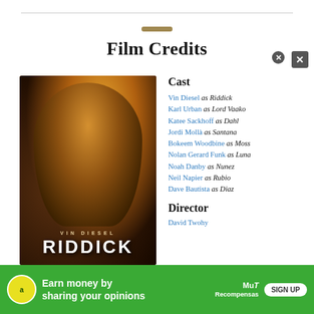Film Credits
[Figure (photo): Movie poster for Riddick featuring Vin Diesel in dark armor, with golden fire in background. Text reads VIN DIESEL RIDDICK.]
Cast
Vin Diesel as Riddick
Karl Urban as Lord Vaako
Katee Sackhoff as Dahl
Jordi Mollà as Santana
Bokeem Woodbine as Moss
Nolan Gerard Funk as Luna
Noah Danby as Nunez
Neil Napier as Rubio
Dave Bautista as Diaz
Director
David Twohy
[Figure (infographic): Green advertisement banner: Earn money by sharing your opinions. Sign Up button. Amazon and MuT Recompensas logos.]